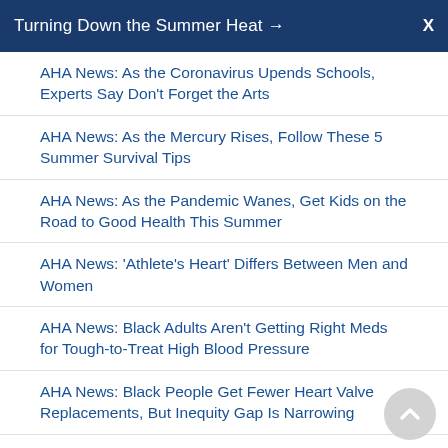Turning Down the Summer Heat →  X
AHA News: As the Coronavirus Upends Schools, Experts Say Don't Forget the Arts
AHA News: As the Mercury Rises, Follow These 5 Summer Survival Tips
AHA News: As the Pandemic Wanes, Get Kids on the Road to Good Health This Summer
AHA News: 'Athlete's Heart' Differs Between Men and Women
AHA News: Black Adults Aren't Getting Right Meds for Tough-to-Treat High Blood Pressure
AHA News: Black People Get Fewer Heart Valve Replacements, But Inequity Gap Is Narrowing
AHA News: Black Young Adults Face Higher Stroke Risk Than Their White Peers
AHA News: Black, Hispanic Families Hit Hardest by